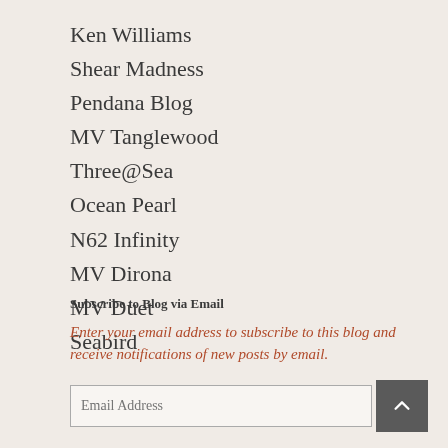Ken Williams
Shear Madness
Pendana Blog
MV Tanglewood
Three@Sea
Ocean Pearl
N62 Infinity
MV Dirona
MV Duet
Seabird
Subscribe to Blog via Email
Enter your email address to subscribe to this blog and receive notifications of new posts by email.